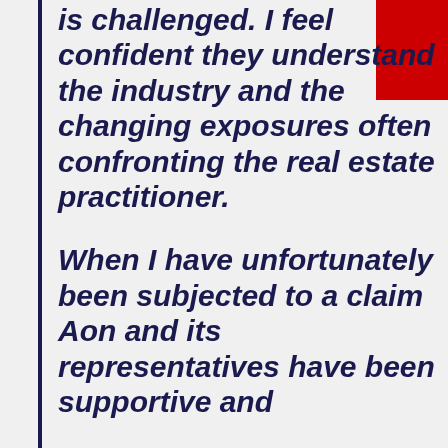is challenged. I feel confident they understand the industry and the changing exposures often confronting the real estate practitioner.

When I have unfortunately been subjected to a claim Aon and its representatives have been supportive and